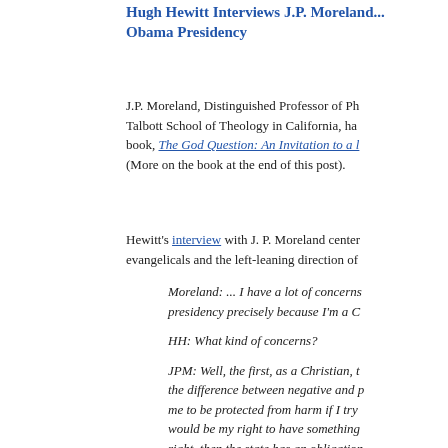Hugh Hewitt Interviews J.P. Moreland... Obama Presidency
J.P. Moreland, Distinguished Professor of Ph... Talbott School of Theology in California, ha... book, The God Question: An Invitation to a... (More on the book at the end of this post).
Hewitt's interview with J. P. Moreland center... evangelicals and the left-leaning direction of...
Moreland: ... I have a lot of concerns... presidency precisely because I'm a C...
HH: What kind of concerns?
JPM: Well, the first, as a Christian, t... the difference between negative and p... me to be protected from harm if I try... would be my right to have something... right, then the state has an obligation...
Continue reading "Hugh Hewitt Interviews J... Leaning Obama Presidency" »
Tuesday, 27 January 2009 in Books, Christian Mind, ... TrackBack (0)